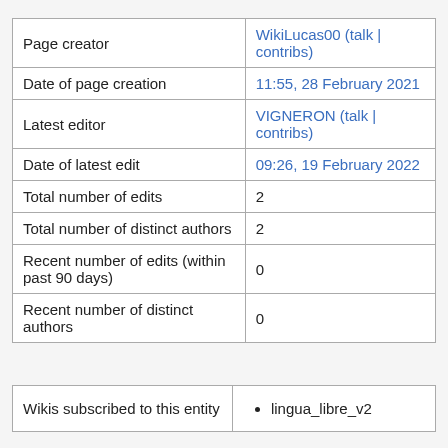|  |  |
| --- | --- |
| Page creator | WikiLucas00 (talk | contribs) |
| Date of page creation | 11:55, 28 February 2021 |
| Latest editor | VIGNERON (talk | contribs) |
| Date of latest edit | 09:26, 19 February 2022 |
| Total number of edits | 2 |
| Total number of distinct authors | 2 |
| Recent number of edits (within past 90 days) | 0 |
| Recent number of distinct authors | 0 |
|  |  |
| --- | --- |
| Wikis subscribed to this entity | • lingua_libre_v2 |